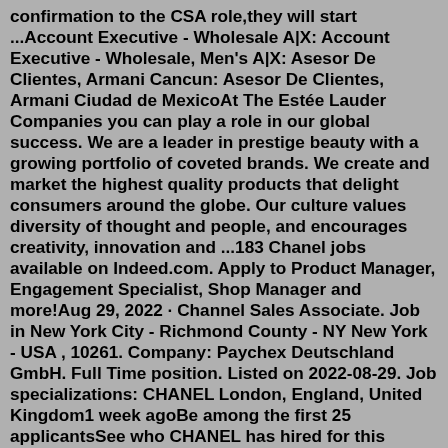confirmation to the CSA role,they will start ...Account Executive - Wholesale A|X: Account Executive - Wholesale, Men's A|X: Asesor De Clientes, Armani Cancun: Asesor De Clientes, Armani Ciudad de MexicoAt The Estée Lauder Companies you can play a role in our global success. We are a leader in prestige beauty with a growing portfolio of coveted brands. We create and market the highest quality products that delight consumers around the globe. Our culture values diversity of thought and people, and encourages creativity, innovation and ...183 Chanel jobs available on Indeed.com. Apply to Product Manager, Engagement Specialist, Shop Manager and more!Aug 29, 2022 · Channel Sales Associate. Job in New York City - Richmond County - NY New York - USA , 10261. Company: Paychex Deutschland GmbH. Full Time position. Listed on 2022-08-29. Job specializations: CHANEL London, England, United Kingdom1 week agoBe among the first 25 applicantsSee who CHANEL has hired for this roleNo longer accepting applications. MAIN